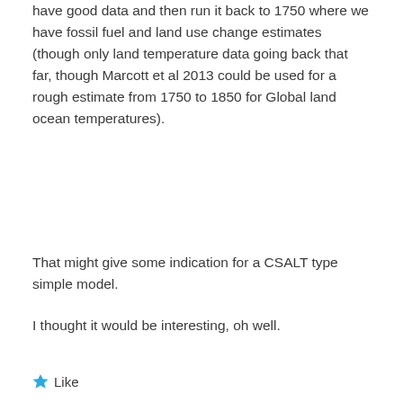have good data and then run it back to 1750 where we have fossil fuel and land use change estimates (though only land temperature data going back that far, though Marcott et al 2013 could be used for a rough estimate from 1750 to 1850 for Global land ocean temperatures).
That might give some indication for a CSALT type simple model.
I thought it would be interesting, oh well.
★ Like